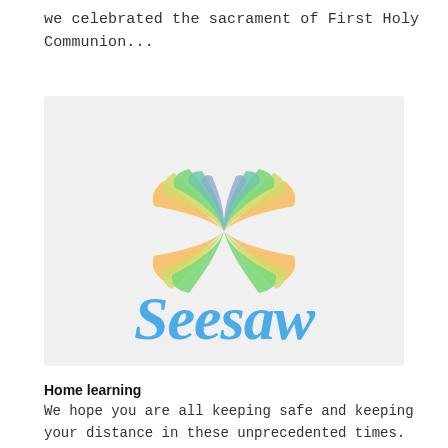we celebrated the sacrament of First Holy Communion...
[Figure (logo): Seesaw app logo: colorful bow-tie shaped icon above the word 'Seesaw' in blue cursive script, on a light grey background]
Home learning
We hope you are all keeping safe and keeping your distance in these unprecedented times. Here is the link to